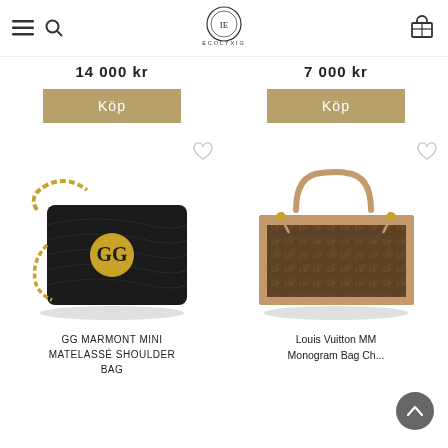ECOLYXIG
14 000 kr
7 000 kr
Köp
Köp
[Figure (photo): Black quilted Gucci GG Marmont Mini Matelassé shoulder bag with gold chain strap and GG logo]
GG MARMONT MINI MATELASSÉ SHOULDER BAG
[Figure (photo): Louis Vuitton MM Monogram Neverfull tote bag in brown monogram canvas with tan leather trim and straps]
Louis Vuitton MM Monogram Bag Ch...